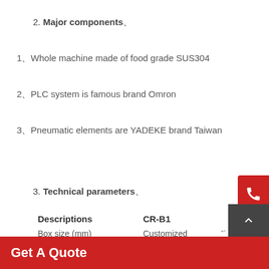2. Major components、
1、Whole machine made of food grade SUS304
2、PLC system is famous brand Omron
3、Pneumatic elements are YADEKE brand Taiwan
3. Technical parameters、
| Descriptions | CR-B1 |
| --- | --- |
| Box size (mm) | Customized mold as per shape of box |
Get A Quote